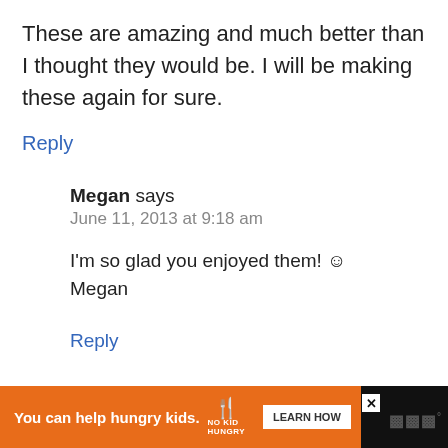These are amazing and much better than I thought they would be. I will be making these again for sure.
Reply
Megan says
June 11, 2013 at 9:18 am
I'm so glad you enjoyed them! ☺ Megan
Reply
[Figure (other): Advertisement banner: orange background with 'You can help hungry kids.' text, No Kid Hungry logo, and LEARN HOW button on black bar at bottom of page]